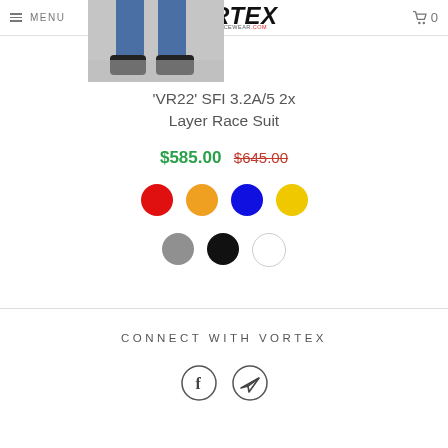MENU | VORTEX RACEWEAR.COM | 0
[Figure (photo): Partial photo showing lower legs of a person in a race suit with black dress shoes on a gray surface]
'VR22' SFI 3.2A/5 2x Layer Race Suit
$585.00 $645.00
[Figure (infographic): Color swatches row 1: red, orange, blue, yellow circles]
[Figure (infographic): Color swatches row 2: gray, black, white circles]
CONNECT WITH VORTEX
[Figure (infographic): Social media icons: Facebook (f) and a send/paper-plane icon, both in outlined circles]